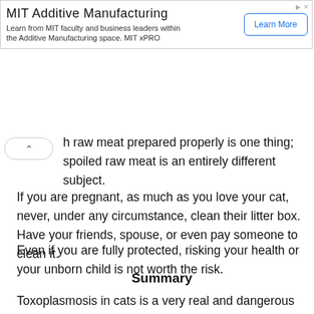[Figure (other): MIT Additive Manufacturing advertisement banner with Learn More button]
h raw meat prepared properly is one thing; spoiled raw meat is an entirely different subject.
If you are pregnant, as much as you love your cat, never, under any circumstance, clean their litter box. Have your friends, spouse, or even pay someone to clean it.
Even if you are fully protected, risking your health or your unborn child is not worth the risk.
Summary
Toxoplasmosis in cats is a very real and dangerous infection and it has only two modes of infection in people;